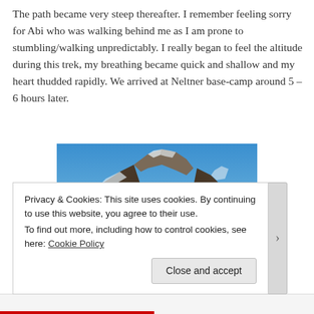The path became very steep thereafter. I remember feeling sorry for Abi who was walking behind me as I am prone to stumbling/walking unpredictably. I really began to feel the altitude during this trek, my breathing became quick and shallow and my heart thudded rapidly. We arrived at Neltner base-camp around 5 – 6 hours later.
[Figure (photo): A steep rocky mountain trail leading up toward snow-capped peaks under a clear blue sky. The landscape is dry and barren with loose rocks and boulders. At the bottom of the image, a person's head is partially visible, suggesting they are looking up the trail.]
Privacy & Cookies: This site uses cookies. By continuing to use this website, you agree to their use.
To find out more, including how to control cookies, see here: Cookie Policy